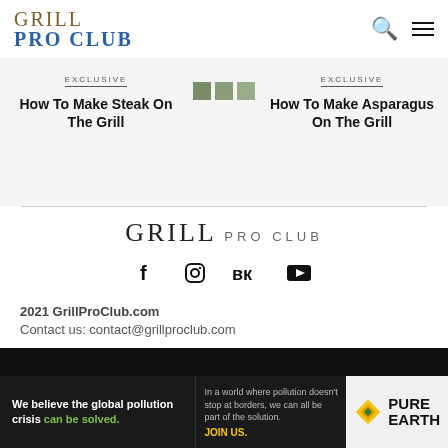GRILL PRO CLUB
EXCLUSIVE — How To Make Steak On The Grill
EXCLUSIVE — How To Make Asparagus On The Grill
GRILL PRO CLUB
f  Instagram  VK  YouTube
2021 GrillProClub.com
Contact us: contact@grillproclub.com
[Figure (other): Black navigation bar]
[Figure (other): Pure Earth advertisement banner: We believe the global pollution crisis can be solved. In a world where pollution doesn't stop at borders, we can all be part of the solution. JOIN US. — PURE EARTH logo]